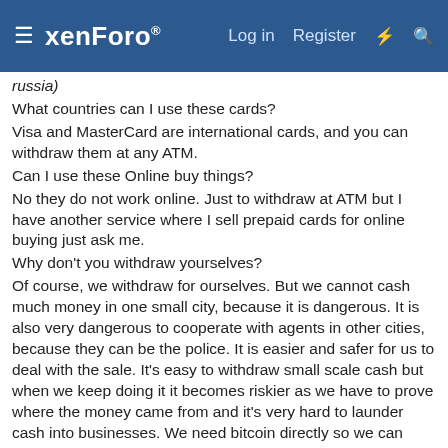xenForo — Log in  Register
russia)
What countries can I use these cards?
Visa and MasterCard are international cards, and you can withdraw them at any ATM.
Can I use these Online buy things?
No they do not work online. Just to withdraw at ATM but I have another service where I sell prepaid cards for online buying just ask me.
Why don't you withdraw yourselves?
Of course, we withdraw for ourselves. But we cannot cash much money in one small city, because it is dangerous. It is also very dangerous to cooperate with agents in other cities, because they can be the police. It is easier and safer for us to deal with the sale. It's easy to withdraw small scale cash but when we keep doing it it becomes riskier as we have to prove where the money came from and it's very hard to launder cash into businesses. We need bitcoin directly so we can launder it into other businesses without banks, local jurisdictions asking us questions. We also believe in Bitcoin and hope to get rich with it. (Jokes) It works better if we sell to other people because they